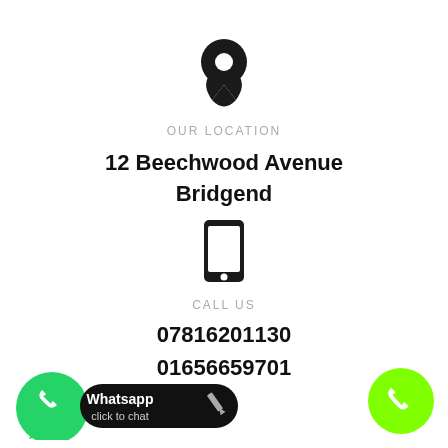[Figure (illustration): Black map pin / location marker icon]
OUR LOCATION
12 Beechwood Avenue
Bridgend
[Figure (illustration): Black mobile phone / smartphone icon]
CALL US
07816201130
01656659701
[Figure (illustration): WhatsApp click to chat button with green WhatsApp logo and black pill button with pencil]
[Figure (illustration): Green circle with white phone handset icon]